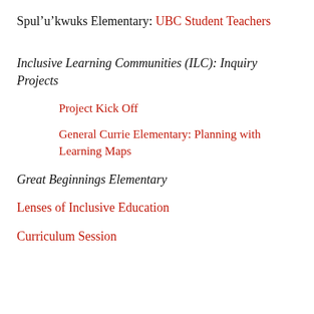Spul'u'kwuks Elementary: UBC Student Teachers
Inclusive Learning Communities (ILC): Inquiry Projects
Project Kick Off
General Currie Elementary: Planning with Learning Maps
Great Beginnings Elementary
Lenses of Inclusive Education
Curriculum Session